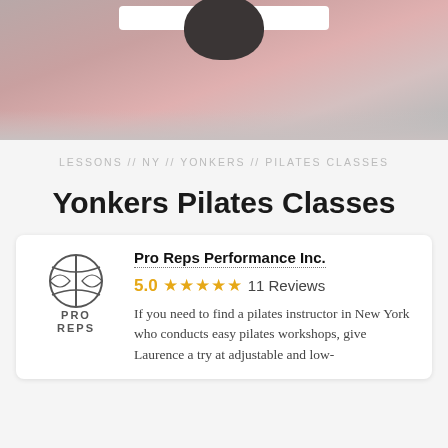[Figure (photo): Hero image showing pilates equipment in pink tones with a dark circular element at top, and a white search bar overlay at the top center]
LESSONS // NY // YONKERS // PILATES CLASSES
Yonkers Pilates Classes
[Figure (logo): Pro Reps logo: basketball-style graphic with text PRO REPS in dark gray]
Pro Reps Performance Inc.
5.0 ★★★★★ 11 Reviews
If you need to find a pilates instructor in New York who conducts easy pilates workshops, give Laurence a try at adjustable and low-